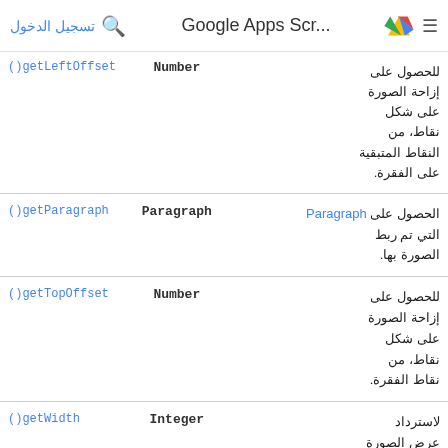تسجيل الدخول | Google Apps Scr...
| الوصف | النوع | الطريقة |
| --- | --- | --- |
| للحصول على إزاحة الصورة على شكل نقاط، من النقاط المتبقية على الفقرة. | Number | getLeftOffset() |
| الحصول على Paragraph التي تم ربط الصورة بها. | Paragraph | getParagraph() |
| للحصول على إزاحة الصورة على شكل نقاط، من نقاط الفقرة. | Number | getTopOffset() |
| لاسترداد عرض الصورة بالبكسل. | Integer | getWidth() |